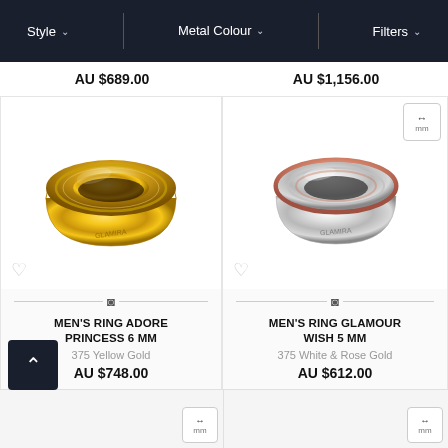Style ∨  |  Metal Colour ∨  |  Filters ∨
AU $689.00
AU $1,156.00
[Figure (photo): Gold men's wedding ring - MEN'S RING ADORE PRINCESS 6 MM, 375 Yellow Gold]
[Figure (photo): White and rose gold men's wedding ring - MEN'S RING GLAMOUR WISH 5 MM, 375 White & Rose Gold]
MEN'S RING ADORE PRINCESS 6 MM
375 Yellow Gold
AU $748.00
MEN'S RING GLAMOUR WISH 5 MM
375 White & Rose Gold
AU $612.00